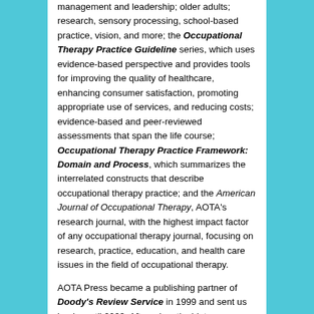management and leadership; older adults; research, sensory processing, school-based practice, vision, and more; the Occupational Therapy Practice Guideline series, which uses evidence-based perspective and provides tools for improving the quality of healthcare, enhancing consumer satisfaction, promoting appropriate use of services, and reducing costs; evidence-based and peer-reviewed assessments that span the life course; Occupational Therapy Practice Framework: Domain and Process, which summarizes the interrelated constructs that describe occupational therapy practice; and the American Journal of Occupational Therapy, AOTA's research journal, with the highest impact factor of any occupational therapy journal, focusing on research, practice, education, and health care issues in the field of occupational therapy.
AOTA Press became a publishing partner of Doody's Review Service in 1999 and sent us books until 2003. After a lengthy hiatus, we again began getting AOTA Press books for review in